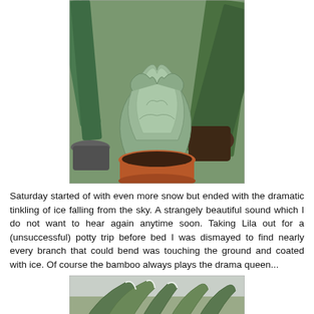[Figure (photo): Close-up photo of a succulent/cactus plant with wavy grey-green leaves in a terracotta pot, surrounded by other potted plants including agave-like plants in the background.]
Saturday started of with even more snow but ended with the dramatic tinkling of ice falling from the sky. A strangely beautiful sound which I do not want to hear again anytime soon. Taking Lila out for a (unsuccessful) potty trip before bed I was dismayed to find nearly every branch that could bend was touching the ground and coated with ice. Of course the bamboo always plays the drama queen...
[Figure (photo): Photo of bamboo and garden plants bent over and coated with ice/snow, with a wintry grey sky background.]